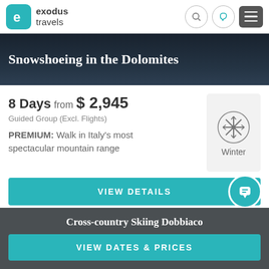[Figure (logo): Exodus Travels logo with teal rounded square icon containing letter e, and text 'exodus travels']
Snowshoeing in the Dolomites
8 Days from $ 2,945
Guided Group (Excl. Flights)
PREMIUM: Walk in Italy's most spectacular mountain range
[Figure (illustration): Winter season badge with snowflake icon, label: Winter]
VIEW DETAILS
81 reviews ★★★★★
Cross-country Skiing Dobbiaco
VIEW DATES & PRICES